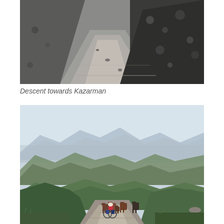[Figure (photo): Gravel mountain road descending towards Kazarman, showing rocky dirt track with dark rocky hillside embankment on the right side.]
Descent towards Kazarman
[Figure (photo): A cyclist in a pink/red jacket riding up a mountain road surrounded by rolling green hills and layered mountain ranges in the background. Several horses and foals are gathered on the road ahead of the cyclist.]